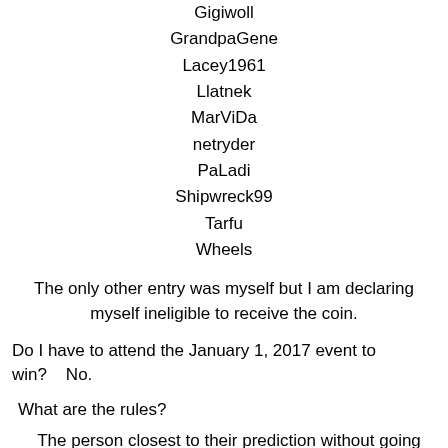Gigiwoll
GrandpaGene
Lacey1961
Llatnek
MarViDa
netryder
PaLadi
Shipwreck99
Tarfu
Wheels
The only other entry was myself but I am declaring myself ineligible to receive the coin.
Do I have to attend the January 1, 2017 event to win?    No.
What are the rules?
The person closest to their prediction without going over, wins the coin.  If everyone exceeds their prediction, the closest to their prediction wins the coin.
How many did I predict?